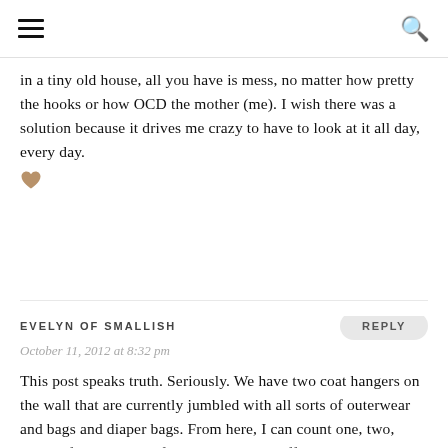☰  🔍
in a tiny old house, all you have is mess, no matter how pretty the hooks or how OCD the mother (me). I wish there was a solution because it drives me crazy to have to look at it all day, every day.
[Figure (illustration): Gold/tan colored heart emoji icon]
EVELYN OF SMALLISH
October 11, 2012 at 8:32 pm
This post speaks truth. Seriously. We have two coat hangers on the wall that are currently jumbled with all sorts of outerwear and bags and diaper bags. From here, I can count one, two, three... five coats and four bags hanging off those poor hooks. But seriously. With